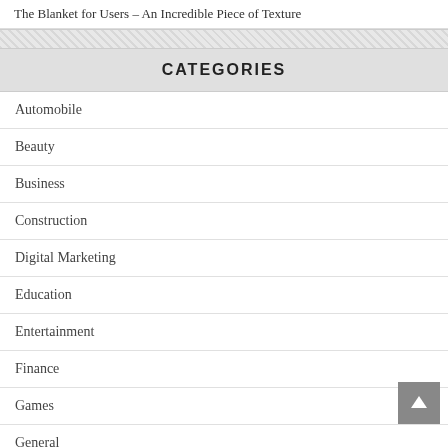The Blanket for Users – An Incredible Piece of Texture
CATEGORIES
Automobile
Beauty
Business
Construction
Digital Marketing
Education
Entertainment
Finance
Games
General
Health